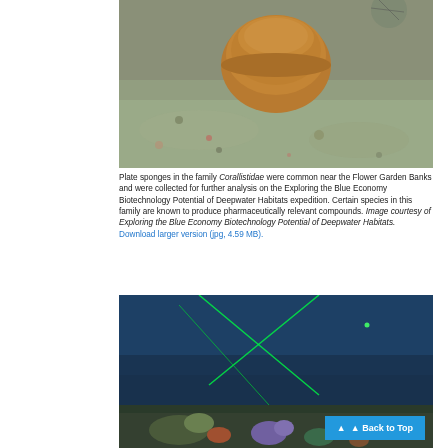[Figure (photo): Underwater photo of a plate sponge on a sandy seafloor near Flower Garden Banks]
Plate sponges in the family Corallistidae were common near the Flower Garden Banks and were collected for further analysis on the Exploring the Blue Economy Biotechnology Potential of Deepwater Habitats expedition. Certain species in this family are known to produce pharmaceutically relevant compounds. Image courtesy of Exploring the Blue Economy Biotechnology Potential of Deepwater Habitats. Download larger version (jpg, 4.59 MB).
[Figure (photo): Underwater photo showing deepwater habitat with green laser lines and colorful sea creatures on the seafloor]